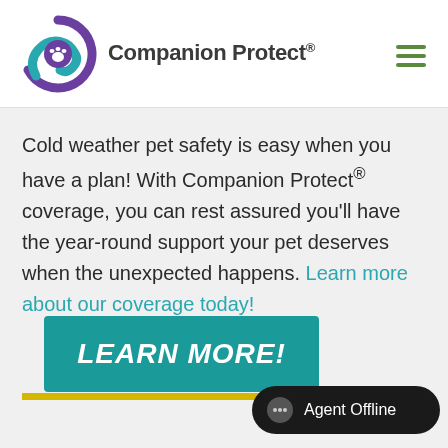[Figure (logo): Companion Protect logo with purple and teal circular icon featuring a paw print, alongside bold text 'Companion Protect®' and a green hamburger menu icon on the right]
Cold weather pet safety is easy when you have a plan! With Companion Protect® coverage, you can rest assured you'll have the year-round support your pet deserves when the unexpected happens. Learn more about our coverage today!
[Figure (other): Teal/dark green rectangular button with white italic bold text 'LEARN MORE!' and a yellow underline bar]
[Figure (other): Black rounded pill chat widget with speech bubble icon and text 'Agent Offline']